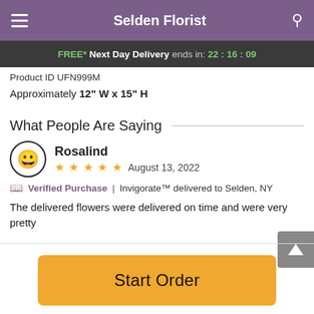Selden Florist
FREE* Next Day Delivery ends in: 22:16:09
Product ID UFN999M
Approximately 12" W x 15" H
What People Are Saying
Rosalind
★ ★ ★ ★ ★ August 13, 2022
Verified Purchase | Invigorate™ delivered to Selden, NY
The delivered flowers were delivered on time and were very pretty
Start Order